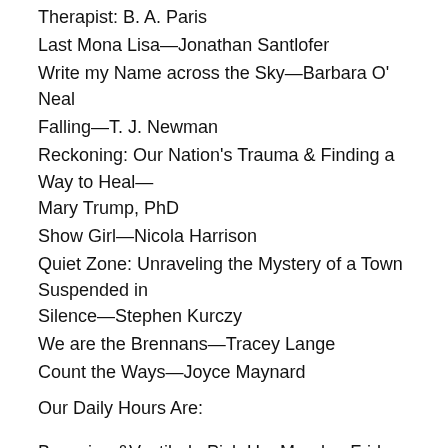Therapist: B. A. Paris
Last Mona Lisa—Jonathan Santlofer
Write my Name across the Sky—Barbara O' Neal
Falling—T. J. Newman
Reckoning: Our Nation's Trauma & Finding a Way to Heal—Mary Trump, PhD
Show Girl—Nicola Harrison
Quiet Zone: Unraveling the Mystery of a Town Suspended in Silence—Stephen Kurczy
We are the Brennans—Tracey Lange
Count the Ways—Joyce Maynard
Our Daily Hours Are:
Browsing &Vestibule Pick-Up: Monday-Friday: 10am-5:30pm and Saturday: 10am-4pm
“Open for Browsing” means you can come inside, walk